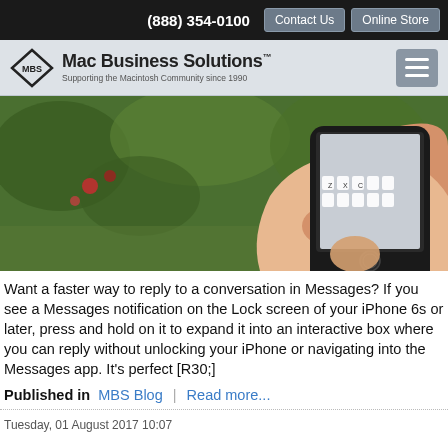(888) 354-0100  Contact Us  Online Store
[Figure (logo): Mac Business Solutions logo with diamond MBS emblem and tagline 'Supporting the Macintosh Community since 1990']
[Figure (photo): A hand holding an iPhone outdoors with green foliage in the background, showing the keyboard on screen]
Want a faster way to reply to a conversation in Messages? If you see a Messages notification on the Lock screen of your iPhone 6s or later, press and hold on it to expand it into an interactive box where you can reply without unlocking your iPhone or navigating into the Messages app. It's perfect [R30;]
Published in  MBS Blog | Read more...
Tuesday, 01 August 2017 10:07